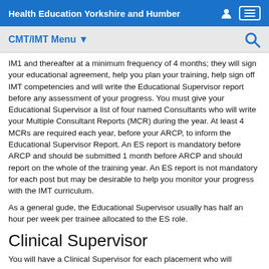Health Education Yorkshire and Humber
CMT/IMT Menu
IM1 and thereafter at a minimum frequency of 4 months; they will sign your educational agreement, help you plan your training, help sign off IMT competencies and will write the Educational Supervisor report before any assessment of your progress. You must give your Educational Supervisor a list of four named Consultants who will write your Multiple Consultant Reports (MCR) during the year. At least 4 MCRs are required each year, before your ARCP, to inform the Educational Supervisor Report. An ES report is mandatory before ARCP and should be submitted 1 month before ARCP and should report on the whole of the training year. An ES report is not mandatory for each post but may be desirable to help you monitor your progress with the IMT curriculum.
As a general gude, the Educational Supervisor usually has half an hour per week per trainee allocated to the ES role.
Clinical Supervisor
You will have a Clinical Supervisor for each placement who will...